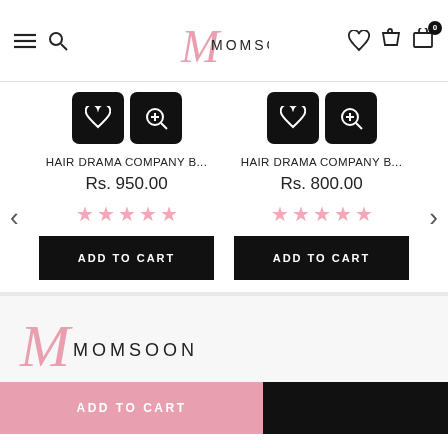MOMSOON — navigation header with menu, search, logo, account, cart
[Figure (screenshot): Two product cards for HAIR DRAMA COMPANY B... with icons, prices Rs. 950.00 and Rs. 800.00, star ratings, and ADD TO CART buttons]
[Figure (logo): Momsoon logo in footer area — pink cursive M with MOMSOON text]
ADD TO CART